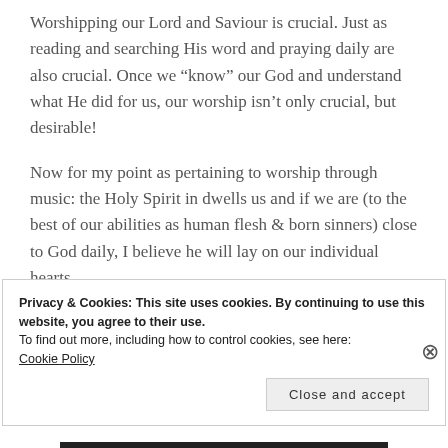Worshipping our Lord and Saviour is crucial. Just as reading and searching His word and praying daily are also crucial. Once we “know” our God and understand what He did for us, our worship isn’t only crucial, but desirable!
Now for my point as pertaining to worship through music: the Holy Spirit in dwells us and if we are (to the best of our abilities as human flesh & born sinners) close to God daily, I believe he will lay on our individual hearts,
Privacy & Cookies: This site uses cookies. By continuing to use this website, you agree to their use.
To find out more, including how to control cookies, see here:
Cookie Policy
Close and accept